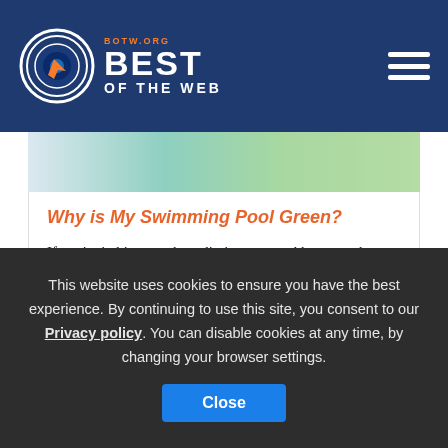BEST OF THE WEB - BOTW.ORG
[Figure (photo): Partial view of a swimming pool with blue water and green surroundings, cropped image strip at top of article card]
Why is My Swimming Pool Green?
If you're itching to take a dip in your pool but scared because it looks like a lake, don't fret. There are some easy fixes to make your pool sparkle again. There are several reasons why your pool ...
This website uses cookies to ensure you have the best experience. By continuing to use this site, you consent to our Privacy policy. You can disable cookies at any time, by changing your browser settings.